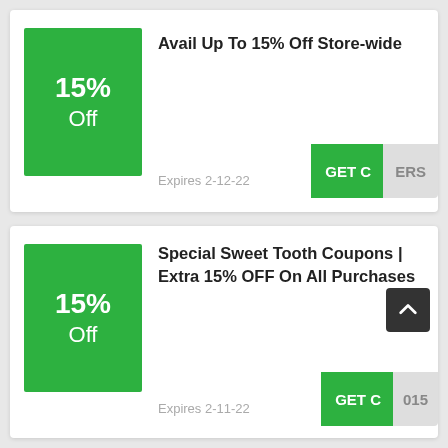[Figure (infographic): Green square badge showing 15% Off]
Avail Up To 15% Off Store-wide
Expires 2-12-22
GET C ERS
[Figure (infographic): Green square badge showing 15% Off]
Special Sweet Tooth Coupons | Extra 15% OFF On All Purchases
Expires 2-11-22
GET C 015